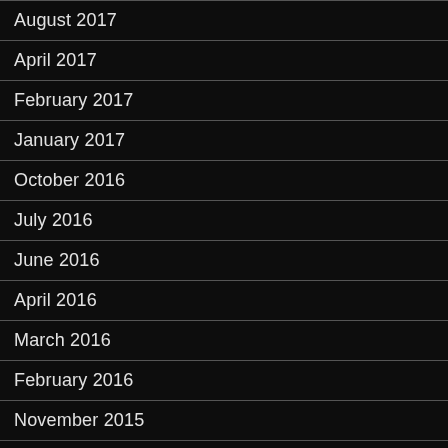August 2017
April 2017
February 2017
January 2017
October 2016
July 2016
June 2016
April 2016
March 2016
February 2016
November 2015
October 2015